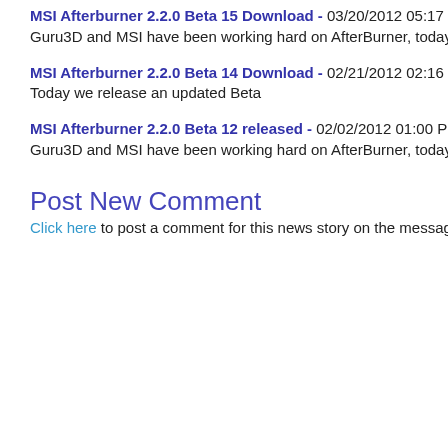MSI Afterburner 2.2.0 Beta 15 Download - 03/20/2012 05:17 PM
Guru3D and MSI have been working hard on AfterBurner, today we
MSI Afterburner 2.2.0 Beta 14 Download - 02/21/2012 02:16 PM
Today we release an updated Beta
MSI Afterburner 2.2.0 Beta 12 released - 02/02/2012 01:00 PM
Guru3D and MSI have been working hard on AfterBurner, today we
Post New Comment
Click here to post a comment for this news story on the message fo